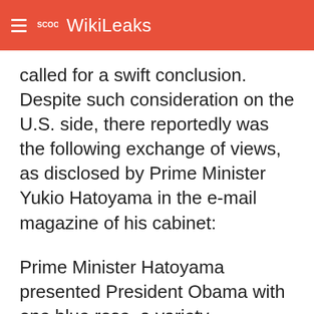SCOOP WikiLeaks
called for a swift conclusion. Despite such consideration on the U.S. side, there reportedly was the following exchange of views, as disclosed by Prime Minister Yukio Hatoyama in the e-mail magazine of his cabinet:
Prime Minister Hatoyama presented President Obama with one blue rose, a variety developed by Japan, in hopes of conveying the message that the impossible can be accomplished. In return, the